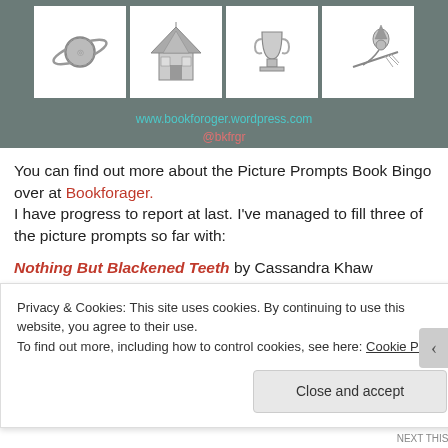[Figure (illustration): Dark gray banner with four white boxes containing illustrations: a planet with rings (Saturn), a Victorian house, a trophy cup, and a witch on a broomstick. Below the icons are the website URL and Twitter handle in teal/red text.]
www.bookforoger.wordpress.com
@bkfrgr
You can find out more about the Picture Prompts Book Bingo over at Bookforager. I have progress to report at last. I've managed to fill three of the picture prompts so far with:
Nothing But Blackened Teeth by Cassandra Khaw
Privacy & Cookies: This site uses cookies. By continuing to use this website, you agree to their use. To find out more, including how to control cookies, see here: Cookie Policy
Close and accept